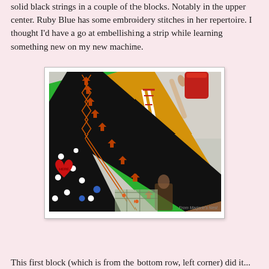solid black strings in a couple of the blocks. Notably in the upper center. Ruby Blue has some embroidery stitches in her repertoire. I thought I'd have a go at embellishing a strip while learning something new on my new machine.
[Figure (photo): Close-up photograph of a quilt with diagonal black strip/sashing decorated with embroidery stitches in red/orange. Various colorful fabric blocks visible including green with candy canes, yellow/orange, black with white dots and a red heart saying HERE, and patterned fabrics. Photo credit: From Marjorie's Nest]
This first block (which is from the bottom row, left corner) did it...